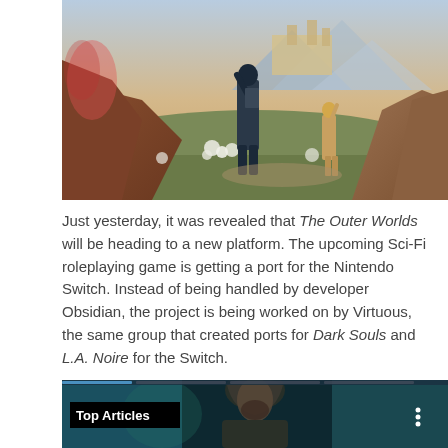[Figure (illustration): Colorful fantasy/sci-fi game art for The Outer Worlds showing two armored characters standing on rocky terrain with a fantastical landscape, mountains, and glowing flora in the background.]
Just yesterday, it was revealed that The Outer Worlds will be heading to a new platform. The upcoming Sci-Fi roleplaying game is getting a port for the Nintendo Switch. Instead of being handled by developer Obsidian, the project is being worked on by Virtuous, the same group that created ports for Dark Souls and L.A. Noire for the Switch.
[Figure (screenshot): Screenshot showing a hooded character (appears to be from Assassin's Creed) with a 'Top Articles' label overlay and a progress bar at the top.]